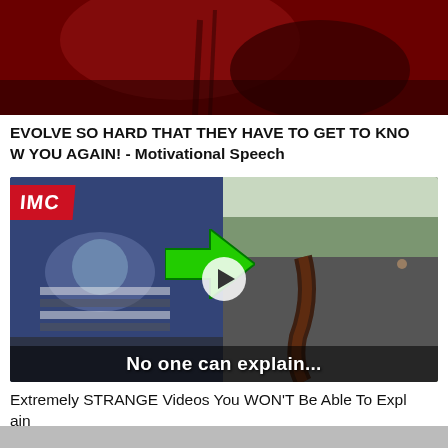[Figure (photo): Dark reddish-brown image at the top, appears to show a close-up of a dark red surface with dripping liquid.]
EVOLVE SO HARD THAT THEY HAVE TO GET TO KNOW YOU AGAIN! - Motivational Speech
[Figure (photo): Composite video thumbnail. Left half shows a person lying down wearing a striped shirt with an IMC badge overlay and a green arrow pointing left. Right half shows a cracked road with trees in background. Play button in center. Caption reads 'No one can explain...']
Extremely STRANGE Videos You WON'T Be Able To Explain